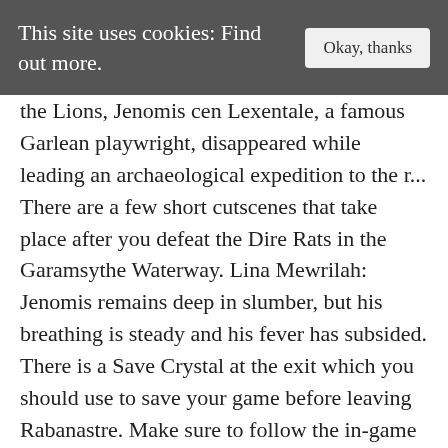This site uses cookies: Find out more.   Okay, thanks
the Lions, Jenomis cen Lexentale, a famous Garlean playwright, disappeared while leading an archaeological expedition to the r... There are a few short cutscenes that take place after you defeat the Dire Rats in the Garamsythe Waterway. Lina Mewrilah: Jenomis remains deep in slumber, but his breathing is steady and his fever has subsided. There is a Save Crystal at the exit which you should use to save your game before leaving Rabanastre. Make sure to follow the in-game instructions from Tomaj as well and equip the Orrachea Armlet he provided. 48 likes. Rule by the Dalmascan royal family lasted for